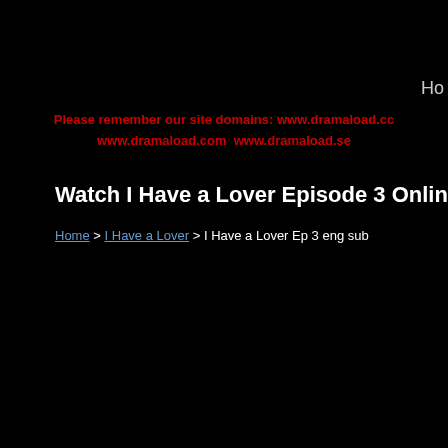Ho
Please remember our site domains: www.dramaload.cc www.dramaload.com www.dramaload.se
Watch I Have a Lover Episode 3 Online Fr
Home > I Have a Lover > I Have a Lover Ep 3 eng sub